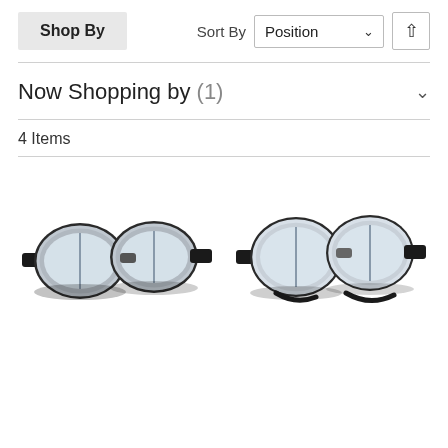Shop By
Sort By  Position
Now Shopping by (1)
4 Items
[Figure (photo): Two pairs of vintage motorcycle/aviator goggles with silver chrome frames and clear lenses on black straps, shown side by side on a white background.]